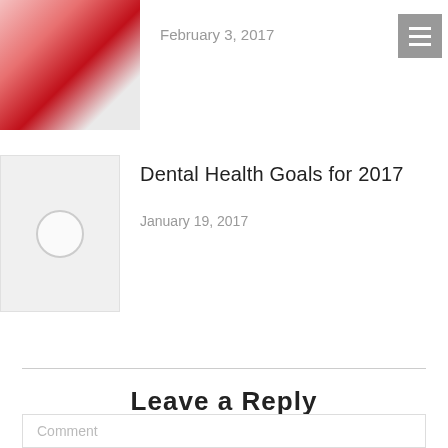[Figure (photo): Close-up photo of a woman with red lipstick biting a piece of chocolate]
February 3, 2017
[Figure (illustration): Gray hamburger menu icon on gray background]
[Figure (illustration): Placeholder image with circle icon]
Dental Health Goals for 2017
January 19, 2017
Leave a Reply
Your email address will not be published. Required fields are marked *
Comment